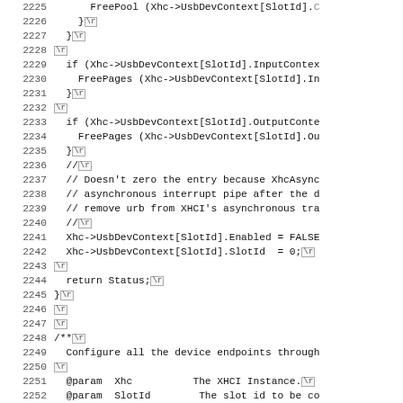[Figure (screenshot): Source code listing showing lines 2225-2257 of a C/C++ file. The code shows USB device context cleanup and configuration of device endpoints, including FreePool, FreePages, slot management, and Doxygen-style comments for a Configure function.]